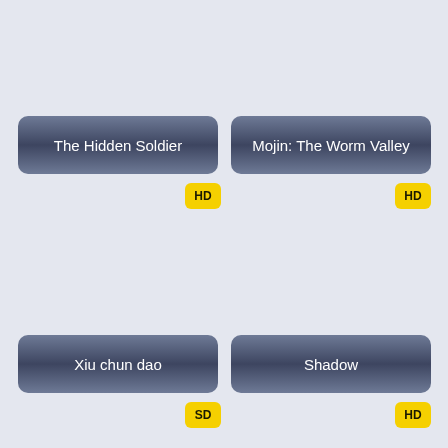[Figure (screenshot): Movie card showing 'The Hidden Soldier' with a dark gradient banner and HD badge]
[Figure (screenshot): Movie card showing 'Mojin: The Worm Valley' with a dark gradient banner and HD badge]
[Figure (screenshot): Movie card showing 'Xiu chun dao' with a dark gradient banner and SD badge]
[Figure (screenshot): Movie card showing 'Shadow' with a dark gradient banner and HD badge]